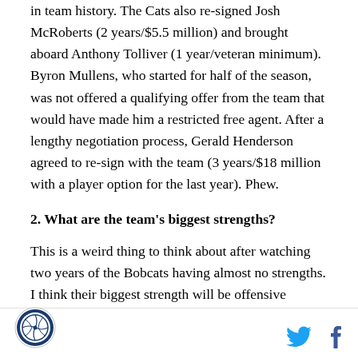in team history. The Cats also re-signed Josh McRoberts (2 years/$5.5 million) and brought aboard Anthony Tolliver (1 year/veteran minimum). Byron Mullens, who started for half of the season, was not offered a qualifying offer from the team that would have made him a restricted free agent. After a lengthy negotiation process, Gerald Henderson agreed to re-sign with the team (3 years/$18 million with a player option for the last year). Phew.
2. What are the team's biggest strengths?
This is a weird thing to think about after watching two years of the Bobcats having almost no strengths. I think their biggest strength will be offensive balance. Last year, the Bobcats offense was not quite...
[logo] [twitter] [facebook]